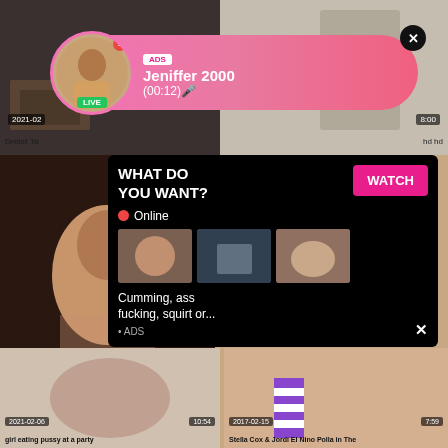[Figure (screenshot): Adult content website screenshot with video thumbnails grid and overlay advertisements]
ADS
Jeniffer 2000
(00:12)🎤
LIVE
WHAT DO YOU WANT?
WATCH
Online
Cumming, ass fucking, squirt or...
• ADS
2021-02
Dreist Ta
8:00
hd hd
2021-02-06
10:54
girl eating pussy at a party
2017-02-15
7:59
Stella Cox & Jordi El Nino Polla in The